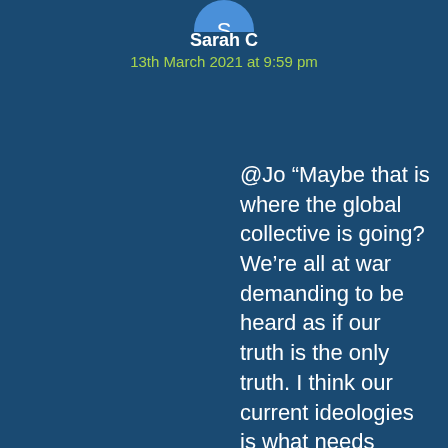[Figure (other): Circular avatar icon partially visible at top center]
Sarah C
13th March 2021 at 9:59 pm
@Jo “Maybe that is where the global collective is going? We’re all at war demanding to be heard as if our truth is the only truth. I think our current ideologies is what needs stripping down to the core. Ultimately, we are one family and we cannot survive alone. We can live